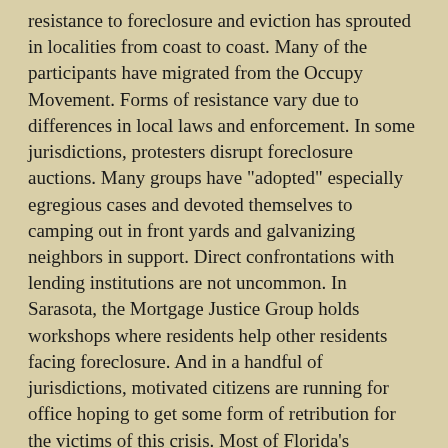resistance to foreclosure and eviction has sprouted in localities from coast to coast. Many of the participants have migrated from the Occupy Movement. Forms of resistance vary due to differences in local laws and enforcement. In some jurisdictions, protesters disrupt foreclosure auctions. Many groups have "adopted" especially egregious cases and devoted themselves to camping out in front yards and galvanizing neighbors in support. Direct confrontations with lending institutions are not uncommon. In Sarasota, the Mortgage Justice Group holds workshops where residents help other residents facing foreclosure. And in a handful of jurisdictions, motivated citizens are running for office hoping to get some form of retribution for the victims of this crisis. Most of Florida's candidates, running on such a platform, lost in their respective primaries. But as a write-in candidate, Robert Sublett is still on the ballot.
[Figure (photo): Video thumbnail showing three people in front of a dark red/maroon background. A purple circle icon with the letter O is overlaid at bottom left, followed by white text reading 'Robert Sublett & Morgage Justice'.]